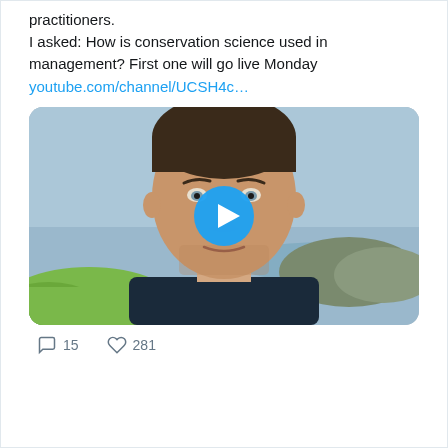practitioners.
I asked: How is conservation science used in management? First one will go live Monday
youtube.com/channel/UCSH4c...
[Figure (screenshot): Video thumbnail showing a man's face with a blue play button overlay, outdoors with hills and green foliage in background]
15   281